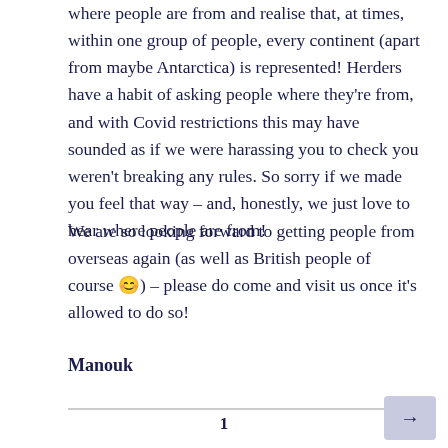where people are from and realise that, at times, within one group of people, every continent (apart from maybe Antarctica) is represented! Herders have a habit of asking people where they're from, and with Covid restrictions this may have sounded as if we were harassing you to check you weren't breaking any rules. So sorry if we made you feel that way – and, honestly, we just love to hear where people are from!
We are so looking forward to getting people from overseas again (as well as British people of course 😊) – please do come and visit us once it's allowed to do so!
Manouk
1